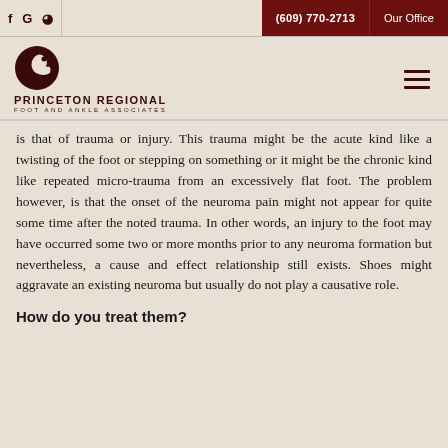f G [icon] | (609) 770-2713 | Our Office
[Figure (logo): Princeton Regional Foot and Ankle Associates logo with bird icon and hamburger menu icon]
is that of trauma or injury. This trauma might be the acute kind like a twisting of the foot or stepping on something or it might be the chronic kind like repeated micro-trauma from an excessively flat foot. The problem however, is that the onset of the neuroma pain might not appear for quite some time after the noted trauma. In other words, an injury to the foot may have occurred some two or more months prior to any neuroma formation but nevertheless, a cause and effect relationship still exists. Shoes might aggravate an existing neuroma but usually do not play a causative role.
How do you treat them?